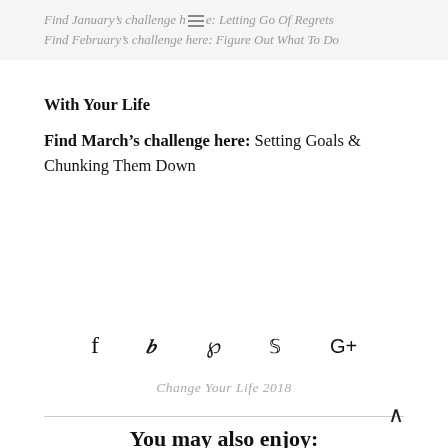Find January's challenge here: Letting Go Of Regrets
Find February's challenge here: Figure Out What To Do With Your Life
Find March's challenge here: Setting Goals & Chunking Them Down
[Figure (other): Social media sharing icons: Facebook, Twitter, Pinterest, StumbleUpon, Google+]
Change Your Life 2018
You may also enjoy: